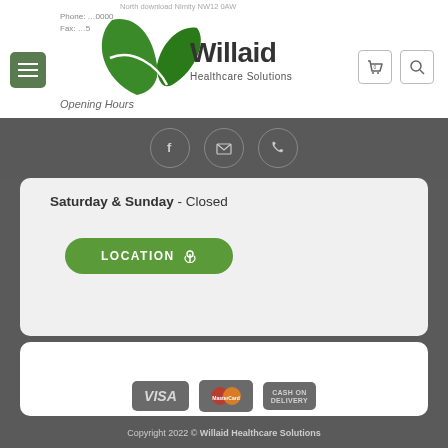[Figure (logo): Willaid Healthcare Solutions logo with green leaf design]
Phone: ...0000
Fax: ...5
Opening Hours
[Figure (infographic): Social media icons: Facebook, Email, Phone in circular outlines on dark grey navigation bar]
Saturday & Sunday - Closed
[Figure (infographic): LOCATION button with map pin icon in green rounded rectangle]
[Figure (infographic): Payment method logos: VISA, MasterCard, CASH ON DELIVERY]
Copyright 2022 © Willaid Healthcare Solutions